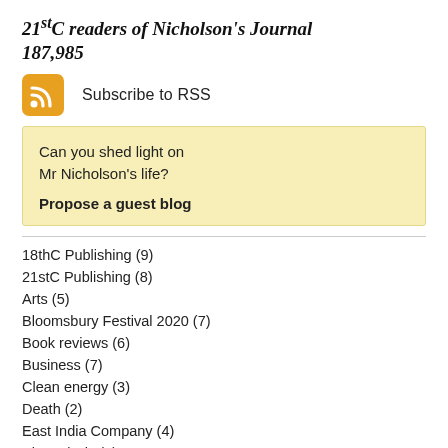21stC readers of Nicholson's Journal
187,985
[Figure (logo): Orange RSS feed icon (rounded square with white RSS signal symbol)]
Subscribe to RSS
Can you shed light on Mr Nicholson’s life?

Propose a guest blog
18thC Publishing (9)
21stC Publishing (8)
Arts (5)
Bloomsbury Festival 2020 (7)
Book reviews (6)
Business (7)
Clean energy (3)
Death (2)
East India Company (4)
Electrolysis (3)
Family (3)